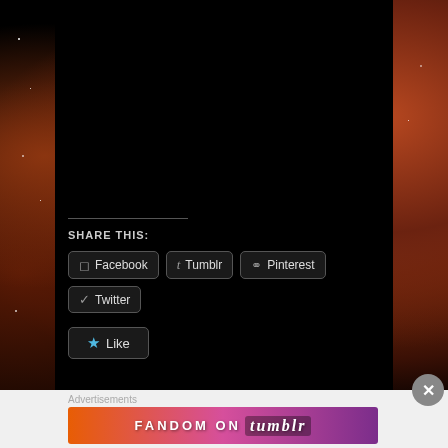[Figure (photo): Screenshot of a blog/website page with a nebula space background on the sides and a black main content area. The page shows social share buttons (Facebook, Tumblr, Pinterest, Twitter) and a Like button.]
SHARE THIS:
Facebook
Tumblr
Pinterest
Twitter
Like
Advertisements
[Figure (infographic): Fandom on tumblr advertisement banner with colorful gradient background (orange to purple) and white decorative elements]
FANDOM ON tumblr